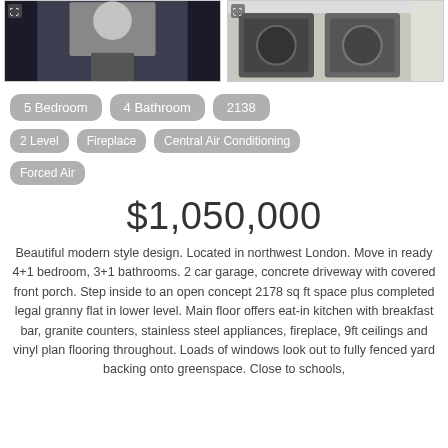[Figure (photo): Two interior property photos side by side: left shows a hallway/corridor, right shows a laundry room with washer and dryer appliances]
5 Bedroom
4 Bathroom
2138
2 Level
Fireplace
Central Air Conditioning
Forced Air
$1,050,000
Beautiful modern style design. Located in northwest London. Move in ready 4+1 bedroom, 3+1 bathrooms. 2 car garage, concrete driveway with covered front porch. Step inside to an open concept 2178 sq ft space plus completed legal granny flat in lower level. Main floor offers eat-in kitchen with breakfast bar, granite counters, stainless steel appliances, fireplace, 9ft ceilings and vinyl plan flooring throughout. Loads of windows look out to fully fenced yard backing onto greenspace. Close to schools,